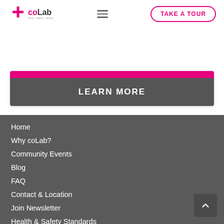[Figure (logo): coLab logo with pink cross and tagline]
[Figure (illustration): Hamburger menu icon (three horizontal lines)]
TAKE A TOUR
LEARN MORE
Home
Why coLab?
Community Events
Blog
FAQ
Contact & Location
Join Newsletter
Health & Safety Standards